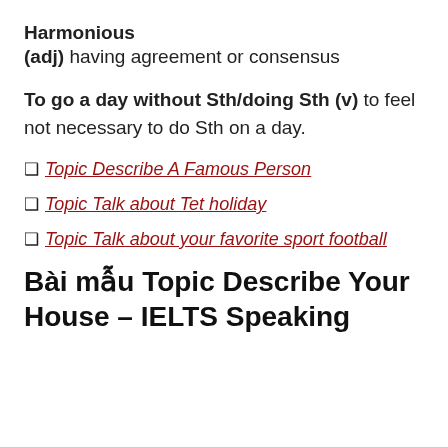Harmonious (adj) having agreement or consensus
To go a day without Sth/doing Sth (v) to feel not necessary to do Sth on a day.
Topic Describe A Famous Person
Topic Talk about Tet holiday
Topic Talk about your favorite sport football
Bài mẫu Topic Describe Your House – IELTS Speaking